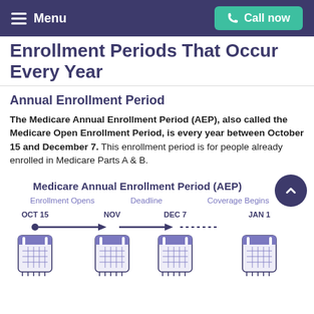Menu  Call now
Enrollment Periods That Occur Every Year
Annual Enrollment Period
The Medicare Annual Enrollment Period (AEP), also called the Medicare Open Enrollment Period, is every year between October 15 and December 7. This enrollment period is for people already enrolled in Medicare Parts A & B.
[Figure (infographic): Timeline infographic showing Enrollment Opens (OCT 15), NOV, Deadline (DEC 7), and Coverage Begins (JAN 1) with calendar icons and arrows connecting the dates.]